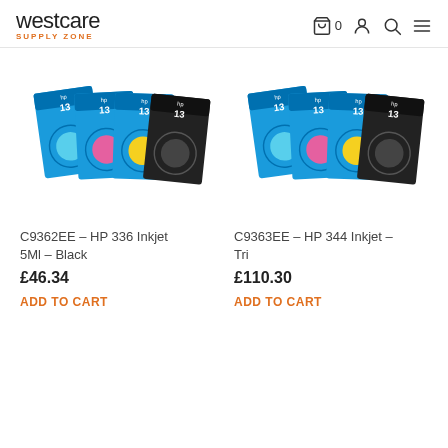westcare SUPPLY ZONE
[Figure (photo): HP 13 inkjet cartridge multipack product boxes (cyan, magenta, yellow, black) - C9362EE HP 336]
C9362EE – HP 336 Inkjet 5Ml – Black
£46.34
ADD TO CART
[Figure (photo): HP 13 inkjet cartridge multipack product boxes (cyan, magenta, yellow, black) - C9363EE HP 344]
C9363EE – HP 344 Inkjet – Tri
£110.30
ADD TO CART